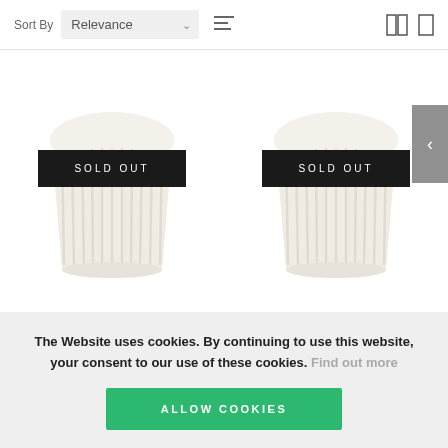Sort By  Relevance
[Figure (screenshot): Two sold-out ribbed coffee cups displayed side by side, each with a black SOLD OUT overlay banner. A grey navigation arrow is visible on the right edge.]
The Website uses cookies. By continuing to use this website, your consent to our use of these cookies. Find out more
ALLOW COOKIES